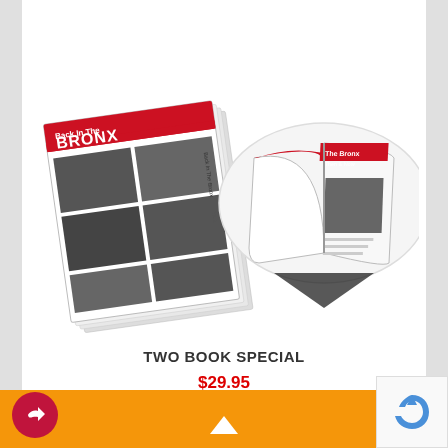[Figure (photo): Two books shown: 'Back in the Bronx' magazine/book on the left (shown at an angle with black and white photos on cover), and 'The Bronx Then & Now' book on the right (shown open, inside an oval highlight)]
TWO BOOK SPECIAL
$29.95